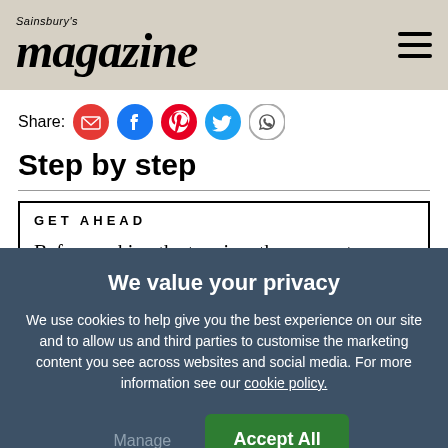Sainsbury's magazine
Share:
Step by step
GET AHEAD
Before making the topping, the coconut cream needs to have been refrigerated for at least 4
We value your privacy
We use cookies to help give you the best experience on our site and to allow us and third parties to customise the marketing content you see across websites and social media. For more information see our cookie policy.
Manage Preferences
Accept All Cookies